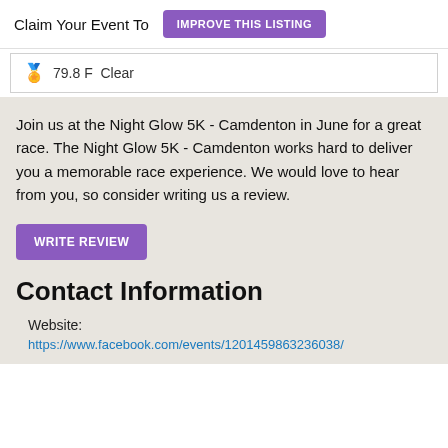Claim Your Event To
IMPROVE THIS LISTING
79.8 F Clear
Join us at the Night Glow 5K - Camdenton in June for a great race. The Night Glow 5K - Camdenton works hard to deliver you a memorable race experience. We would love to hear from you, so consider writing us a review.
WRITE REVIEW
Contact Information
Website:
https://www.facebook.com/events/1201459863236038/